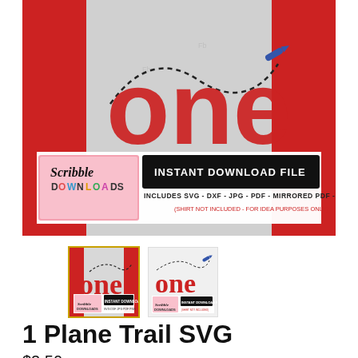[Figure (photo): Product photo showing a gray raglan baseball shirt with red sleeves. The word 'one' is printed in large red letters with a dashed airplane trail path and a small blue airplane. Below the main image is a branding banner showing 'Scribble Downloads' logo and text reading 'INSTANT DOWNLOAD FILE - INCLUDES SVG - DXF - JPG - PDF - MIRRORED PDF - PNG' with a note '(SHIRT NOT INCLUDED - FOR IDEA PURPOSES ONLY)'.]
[Figure (photo): Thumbnail 1: small version of the main product image showing the shirt with 'one' text and airplane trail design with Scribble Downloads banner]
[Figure (photo): Thumbnail 2: small preview showing the SVG design file with 'one' text and airplane in a flat/white background view]
1 Plane Trail SVG
$2.50